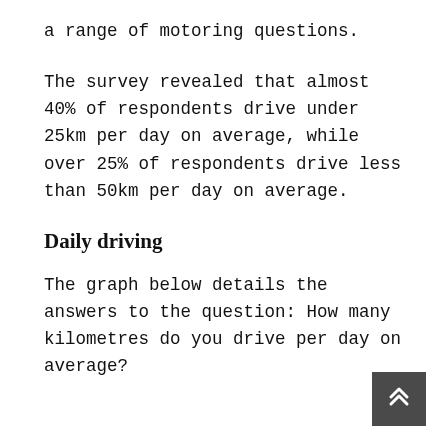a range of motoring questions.
The survey revealed that almost 40% of respondents drive under 25km per day on average, while over 25% of respondents drive less than 50km per day on average.
Daily driving
The graph below details the answers to the question: How many kilometres do you drive per day on average?